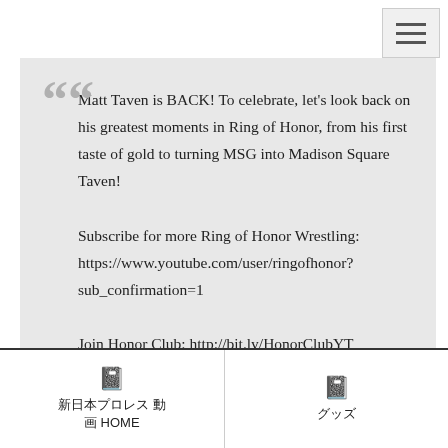[Figure (other): Hamburger menu button with three horizontal lines, top right corner]
Matt Taven is BACK! To celebrate, let's look back on his greatest moments in Ring of Honor, from his first taste of gold to turning MSG into Madison Square Taven!
Subscribe for more Ring of Honor Wrestling:
https://www.youtube.com/user/ringofhonor?sub_confirmation=1
Join Honor Club: http://bit.ly/HonorClubYT
Find ROH TV in your area:
http://bit.ly/ROHTVYT
Shop for ROH merchandise:
新日本プロレス 動画 HOME
グッズ